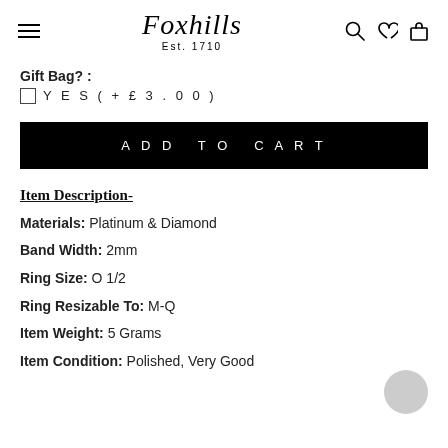Foxhills Est. 1710
Gift Bag? :
YES (+£3.00)
ADD TO CART
Item Description-
Materials: Platinum & Diamond
Band Width: 2mm
Ring Size: O 1/2
Ring Resizable To: M-Q
Item Weight: 5 Grams
Item Condition: Polished, Very Good